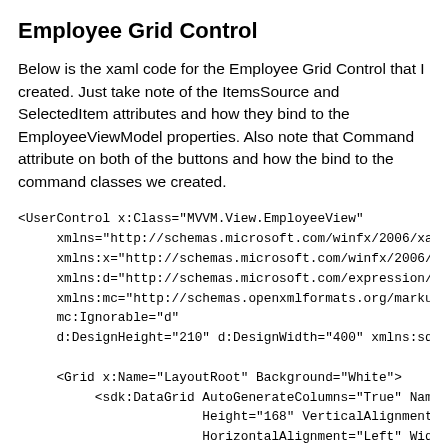Employee Grid Control
Below is the xaml code for the Employee Grid Control that I created. Just take note of the ItemsSource and SelectedItem attributes and how they bind to the EmployeeViewModel properties. Also note that Command attribute on both of the buttons and how the bind to the command classes we created.
<UserControl x:Class="MVVM.View.EmployeeView"
     xmlns="http://schemas.microsoft.com/winfx/2006/xaml/p
     xmlns:x="http://schemas.microsoft.com/winfx/2006/xaml
     xmlns:d="http://schemas.microsoft.com/expression/blen
     xmlns:mc="http://schemas.openxmlformats.org/markup-co
     mc:Ignorable="d"
     d:DesignHeight="210" d:DesignWidth="400" xmlns:sdk="h

     <Grid x:Name="LayoutRoot" Background="White">
          <sdk:DataGrid AutoGenerateColumns="True" Name="gr
                        Height="168" VerticalAlignment="Top
                        HorizontalAlignment="Left" Width="4
                        ItemsSource="{Binding Employees}"
                        SelectedItem="{Binding SelectedEmpl
          <Button Content="Insert" Height="23" HorizontalAl
               Name="btnInsert" VerticalAlignment="Top